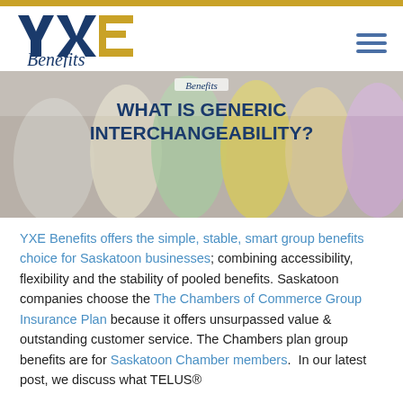[Figure (logo): YXE Benefits logo with blue Y and X letters and gold E, with 'Benefits' in blue italic below]
[Figure (photo): Hero image of colorful pill bottles/cups in soft focus with overlay text 'WHAT IS GENERIC INTERCHANGEABILITY?']
WHAT IS GENERIC INTERCHANGEABILITY?
YXE Benefits offers the simple, stable, smart group benefits choice for Saskatoon businesses; combining accessibility, flexibility and the stability of pooled benefits. Saskatoon companies choose the The Chambers of Commerce Group Insurance Plan because it offers unsurpassed value & outstanding customer service. The Chambers plan group benefits are for Saskatoon Chamber members.  In our latest post, we discuss what TELUS®